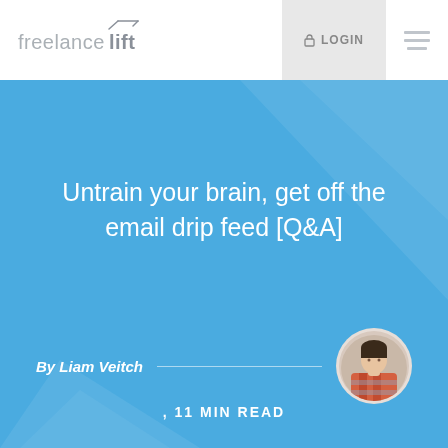[Figure (logo): Freelancelift logo with stylized arrow/lift mark]
🔒 LOGIN
Untrain your brain, get off the email drip feed [Q&A]
By Liam Veitch
[Figure (photo): Circular portrait photo of Liam Veitch wearing a plaid shirt]
, 11 MIN READ